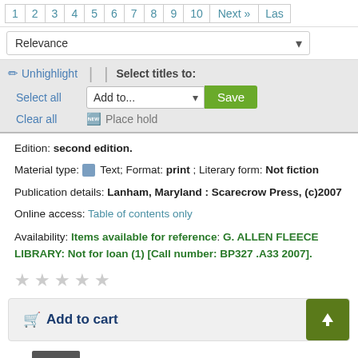1 2 3 4 5 6 7 8 9 10 Next » Las
Relevance
✏ Unhighlight | | Select titles to: Select all Add to... Save Clear all ☰ Place hold
Edition: second edition.
Material type: Text; Format: print ; Literary form: Not fiction
Publication details: Lanham, Maryland : Scarecrow Press, (c)2007
Online access: Table of contents only
Availability: Items available for reference: G. ALLEN FLEECE LIBRARY: Not for loan (1) [Call number: BP327 .A33 2007].
☆ ☆ ☆ ☆ ☆
🛒 Add to cart